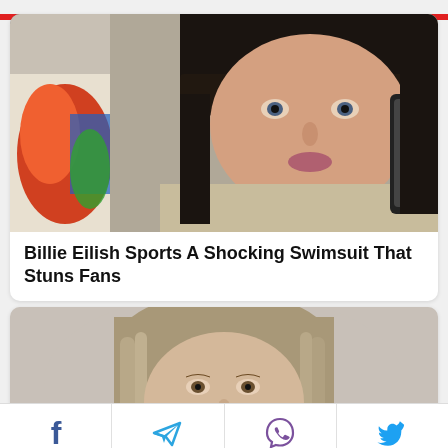[Figure (photo): Close-up selfie of a young woman with dark short hair and bangs, wearing layered necklaces and a plaid/checkered top, colorful artwork visible in background]
Billie Eilish Sports A Shocking Swimsuit That Stuns Fans
[Figure (photo): Photo of a young woman with long light brown/blonde hair, looking slightly downward, blurred background]
Social share bar with Facebook, Telegram, Viber, and Twitter icons